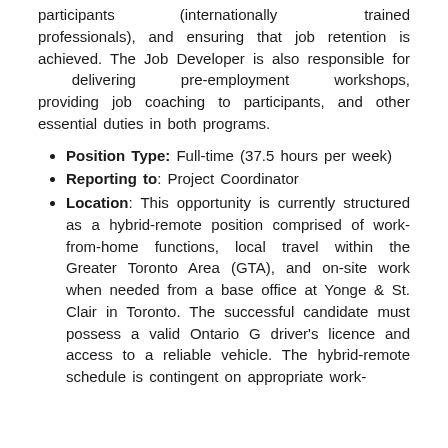participants (internationally trained professionals), and ensuring that job retention is achieved. The Job Developer is also responsible for delivering pre-employment workshops, providing job coaching to participants, and other essential duties in both programs.
Position Type: Full-time (37.5 hours per week)
Reporting to: Project Coordinator
Location: This opportunity is currently structured as a hybrid-remote position comprised of work-from-home functions, local travel within the Greater Toronto Area (GTA), and on-site work when needed from a base office at Yonge & St. Clair in Toronto. The successful candidate must possess a valid Ontario G driver's licence and access to a reliable vehicle. The hybrid-remote schedule is contingent on appropriate work-